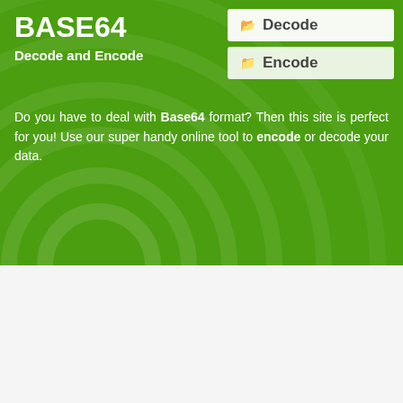BASE64
Decode and Encode
Do you have to deal with Base64 format? Then this site is perfect for you! Use our super handy online tool to encode or decode your data.
Base64 Encoding of "votary"
Simply enter your data then push the encode button.
votary